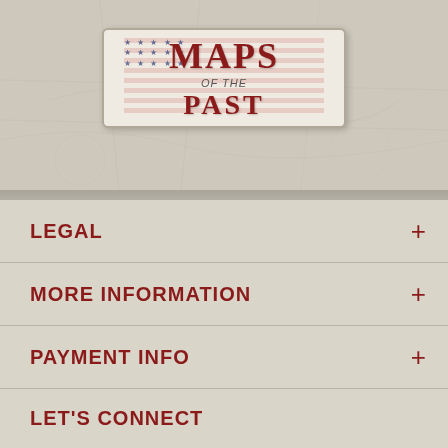[Figure (logo): Maps of the Past logo with American flag motif, red text reading MAPS OF PAST on a cream/white background with decorative border]
LEGAL +
MORE INFORMATION +
PAYMENT INFO +
LET'S CONNECT
[Figure (logo): Facebook icon represented as lowercase f]